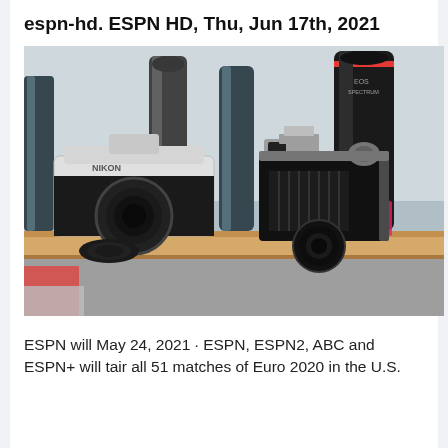espn-hd. ESPN HD, Thu, Jun 17th, 2021
[Figure (photo): Photo of vintage film cameras and camera lenses arranged on a wooden shelf, including a classic SLR camera and a folding bellows camera, with several lens accessories in the background.]
ESPN will May 24, 2021 · ESPN, ESPN2, ABC and ESPN+ will tair all 51 matches of Euro 2020 in the U.S.